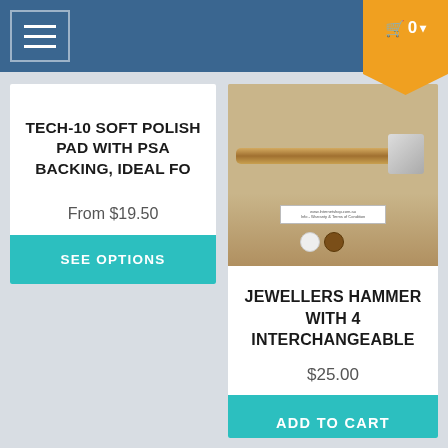[Figure (screenshot): E-commerce product listing page with navigation bar, two product cards side by side. Left card: TECH-10 SOFT POLISH PAD WITH PSA BACKING, IDEAL FO, From $19.50, SEE OPTIONS button. Right card: Jewellers hammer with 4 interchangeable heads photo, JEWELLERS HAMMER WITH 4 INTERCHANGEABLE, $25.00, ADD TO CART button. Orange cart ribbon badge in top right.]
TECH-10 SOFT POLISH PAD WITH PSA BACKING, IDEAL FO
From $19.50
SEE OPTIONS
JEWELLERS HAMMER WITH 4 INTERCHANGEABLE
$25.00
ADD TO CART